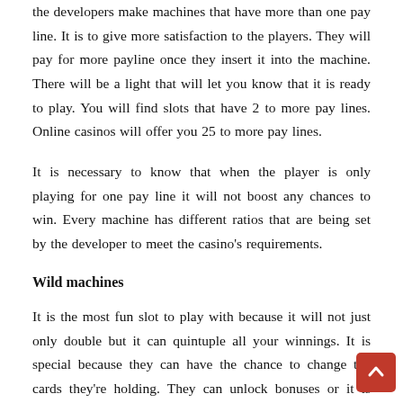the developers make machines that have more than one pay line. It is to give more satisfaction to the players. They will pay for more payline once they insert it into the machine. There will be a light that will let you know that it is ready to play. You will find slots that have 2 to more pay lines. Online casinos will offer you 25 to more pay lines.
It is necessary to know that when the player is only playing for one pay line it will not boost any chances to win. Every machine has different ratios that are being set by the developer to meet the casino's requirements.
Wild machines
It is the most fun slot to play with because it will not just only double but it can quintuple all your winnings. It is special because they can have the chance to change the cards they're holding. They can unlock bonuses or it is attached that will increase your profits. When they have the winning combination of a wild multiplier symbol it